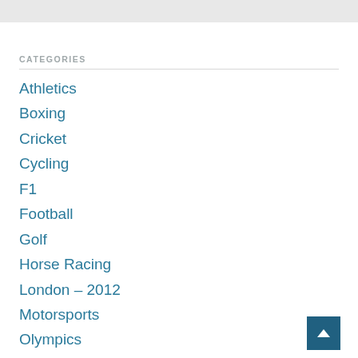CATEGORIES
Athletics
Boxing
Cricket
Cycling
F1
Football
Golf
Horse Racing
London – 2012
Motorsports
Olympics
Rugby League
Rugby Union
Snooker